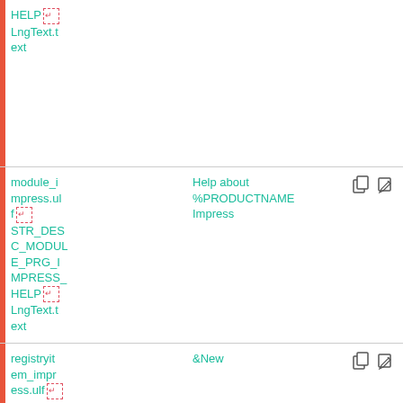| ID | Value | Actions |
| --- | --- | --- |
| module_impress.ulf
STR_DESC_MODULE_PRG_IMPRESS_HELP
LngText.text | Help about
%PRODUCTNAME
Impress | copy edit |
| registryitem_impress.ulf
STR_REG
VAL_NE... | &New | copy edit |